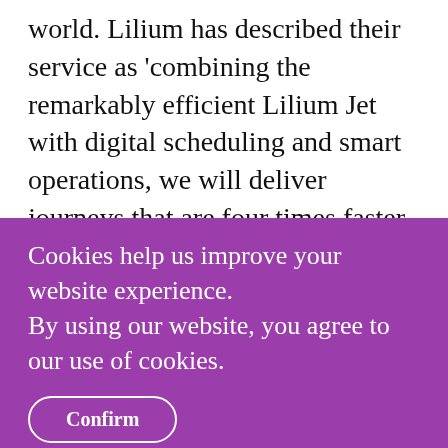world. Lilium has described their service as 'combining the remarkably efficient Lilium Jet with digital scheduling and smart operations, we will deliver journeys that are four times faster than going by taxi, yet competitive in price'.

The German company is committed to sustainable principles, recognising that nearly a quarter of all carbon emissions are caused by transportation and
Cookies help us improve your website experience.
By using our website, you agree to our use of cookies.
Confirm